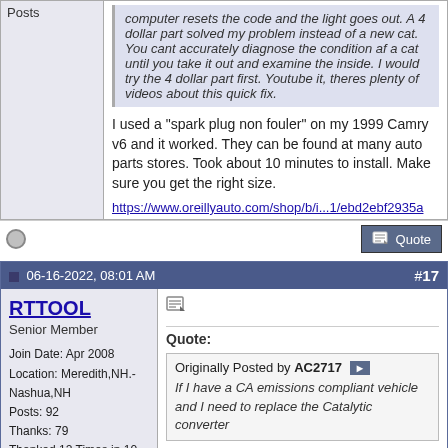Posts
computer resets the code and the light goes out. A 4 dollar part solved my problem instead of a new cat. You cant accurately diagnose the condition af a cat until you take it out and examine the inside. I would try the 4 dollar part first. Youtube it, theres plenty of videos about this quick fix.
I used a "spark plug non fouler" on my 1999 Camry v6 and it worked. They can be found at many auto parts stores. Took about 10 minutes to install. Make sure you get the right size.
https://www.oreillyauto.com/shop/b/i...1/ebd2ebf2935a
06-16-2022, 08:01 AM
#17
RTTOOL
Senior Member
Join Date: Apr 2008
Location: Meredith,NH.-Nashua,NH
Posts: 92
Thanks: 79
Thanked 12 Times in 10 Posts
Quote:
Originally Posted by AC2717
If I have a CA emissions compliant vehicle and I need to replace the Catalytic converter